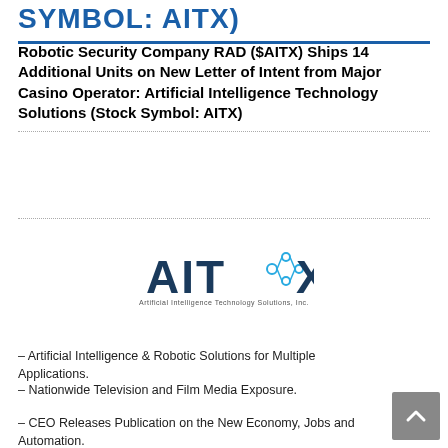SYMBOL: AITX)
Robotic Security Company RAD ($AITX) Ships 14 Additional Units on New Letter of Intent from Major Casino Operator: Artificial Intelligence Technology Solutions (Stock Symbol: AITX)
[Figure (logo): AITX - Artificial Intelligence Technology Solutions Inc. logo with network icon]
– Artificial Intelligence & Robotic Solutions for Multiple Applications.
– Nationwide Television and Film Media Exposure.
– CEO Releases Publication on the New Economy, Jobs and Automation.